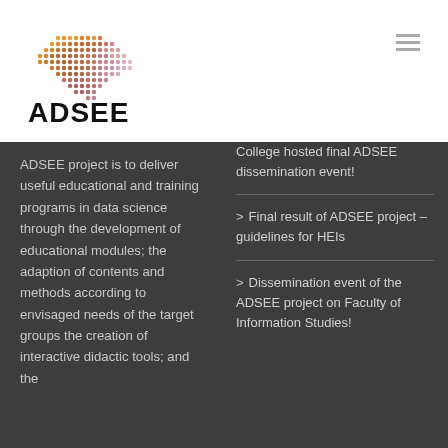[Figure (logo): ADSEE logo with colorful dot-pattern map graphic above bold text 'ADSEE']
ADSEE project is to deliver useful educational and training programs in data science through the development of educational modules; the adaption of contents and methods according to envisaged needs of the target groups the creation of interactive didactic tools; and the
College hosted final ADSEE dissemination event!
Final result of ADSEE project – guidelines for HEIs
Dissemination event of the ADSEE project on Faculty of Information Studies!